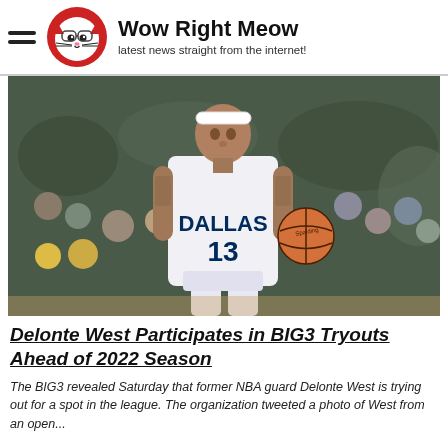Wow Right Meow – latest news straight from the internet!
[Figure (photo): Dallas Mavericks player wearing jersey number 13, dribbling a basketball in a crowded arena. The player has tattoos on both arms and a white headband.]
Delonte West Participates in BIG3 Tryouts Ahead of 2022 Season
The BIG3 revealed Saturday that former NBA guard Delonte West is trying out for a spot in the league. The organization tweeted a photo of West from an open...